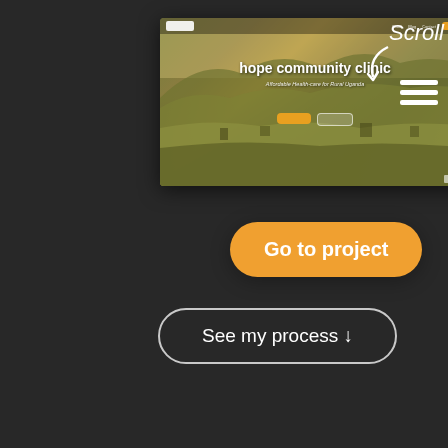[Figure (screenshot): Website screenshot of 'hope community clinic' – Affordable Health-care for Rural Uganda. Shows a hero section with an aerial landscape background (green hills/farmland), navigation bar with logo and orange button, hero headline text, and two CTA buttons.]
Scroll
Go to project
See my process ↓